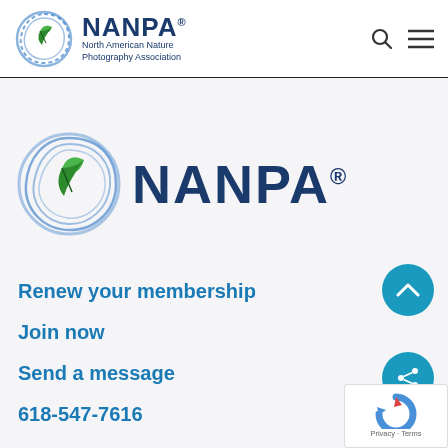NANPA® North American Nature Photography Association
[Figure (logo): NANPA logo — circular blue swirl with green leaf, large NANPA® wordmark in dark blue]
Renew your membership
Join now
Send a message
618-547-7616